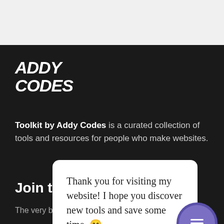[Figure (logo): ADDY CODES logo in white bold italic text on dark background]
Toolkit by Addy Codes is a curated collection of tools and resources for people who make websites.
Thank you for visiting my website! I hope you discover new tools and save some time. 😊
Join t
The very best new website building resources sent to